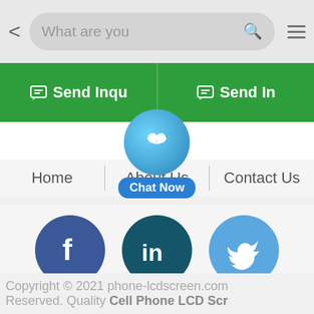[Figure (screenshot): Mobile browser top navigation bar with back arrow, search box reading 'What are you', search icon, and hamburger menu icon]
[Figure (screenshot): Green 'Send Inqu' buttons (two side-by-side) with chat/inquiry icons]
[Figure (screenshot): Blue circular chat button overlay with smiley face icon and 'Chat Now' label]
Home | About Us | Contact Us
[Figure (screenshot): Social media icons: Facebook (blue circle with f), LinkedIn (dark teal circle with 'in'), Twitter (light blue circle with bird)]
Copyright © 2021 phone-lcdscreen.com Reserved. Quality Cell Phone LCD Scr Factory